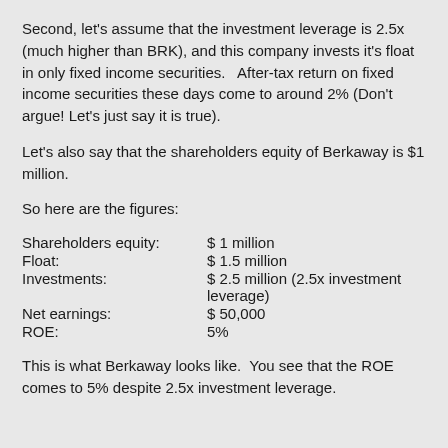Second, let's assume that the investment leverage is 2.5x (much higher than BRK), and this company invests it's float in only fixed income securities.   After-tax return on fixed income securities these days come to around 2% (Don't argue! Let's just say it is true).
Let's also say that the shareholders equity of Berkaway is $1 million.
So here are the figures:
| Shareholders equity: | $ 1 million |
| Float: | $ 1.5 million |
| Investments: | $ 2.5 million (2.5x investment leverage) |
| Net earnings: | $ 50,000 |
| ROE: | 5% |
This is what Berkaway looks like.  You see that the ROE comes to 5% despite 2.5x investment leverage.